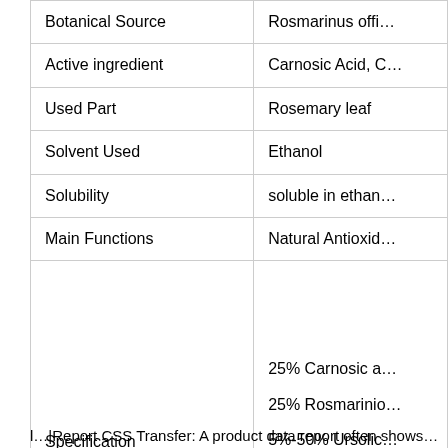|  |  |
| --- | --- |
| Botanical Source | Rosmarinus offi… |
| Active ingredient | Carnosic Acid, C… |
| Used Part | Rosemary leaf |
| Solvent Used | Ethanol |
| Solubility | soluble in ethan… |
| Main Functions | Natural Antioxid… |
| Specification | 25% Carnosic a…
25% Rosmarinio…
5%-50% Ursolic… |
l…|Report CSS Transfer: A product data report often shows